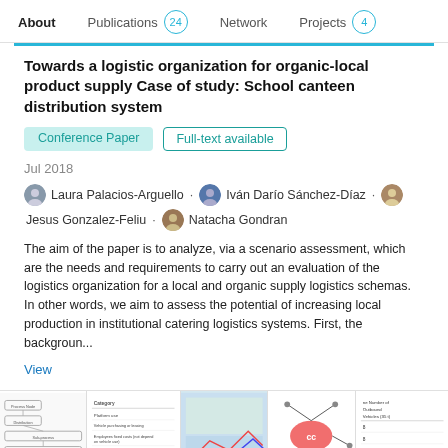About  Publications 24  Network  Projects 4
Towards a logistic organization for organic-local product supply Case of study: School canteen distribution system
Conference Paper  Full-text available
Jul 2018
Laura Palacios-Arguello · Iván Darío Sánchez-Díaz · Jesus Gonzalez-Feliu · Natacha Gondran
The aim of the paper is to analyze, via a scenario assessment, which are the needs and requirements to carry out an evaluation of the logistics organization for a local and organic supply logistics schemas. In other words, we aim to assess the potential of increasing local production in institutional catering logistics systems. First, the backgroun...
View
[Figure (other): Thumbnail strip of four small images from associated figures in the paper, including a flowchart, a table, a map, a network diagram, and a table with vehicle/outbound data.]